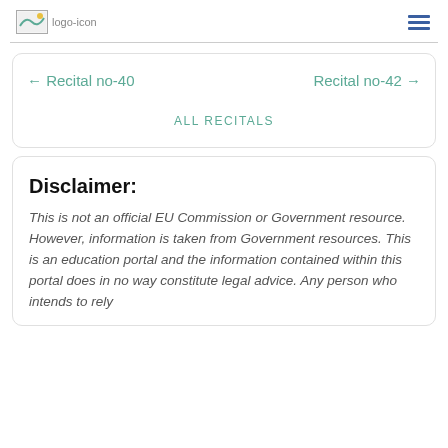logo-icon | hamburger menu
← Recital no-40    Recital no-42 →
ALL RECITALS
Disclaimer:
This is not an official EU Commission or Government resource. However, information is taken from Government resources. This is an education portal and the information contained within this portal does in no way constitute legal advice. Any person who intends to rely